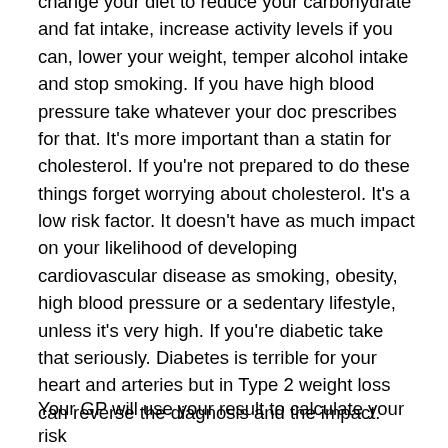change your diet to reduce your carbohydrate and fat intake, increase activity levels if you can, lower your weight, temper alcohol intake and stop smoking. If you have high blood pressure take whatever your doc prescribes for that. It's more important than a statin for cholesterol. If you're not prepared to do these things forget worrying about cholesterol. It's a low risk factor. It doesn't have as much impact on your likelihood of developing cardiovascular disease as smoking, obesity, high blood pressure or a sedentary lifestyle, unless it's very high. If you're diabetic take that seriously. Diabetes is terrible for your heart and arteries but in Type 2 weight loss can reverse the diagnosis and the impact.
Your GP will use your result to calculate your risk